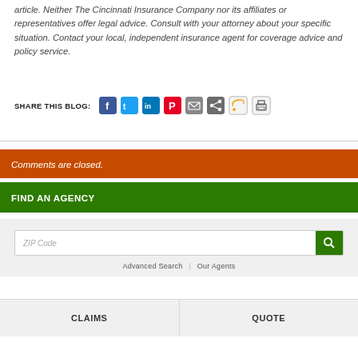article. Neither The Cincinnati Insurance Company nor its affiliates or representatives offer legal advice. Consult with your attorney about your specific situation. Contact your local, independent insurance agent for coverage advice and policy service.
SHARE THIS BLOG:
Comments are closed.
FIND AN AGENCY
ZIP Code
Advanced Search | Our Agents
CLAIMS
QUOTE